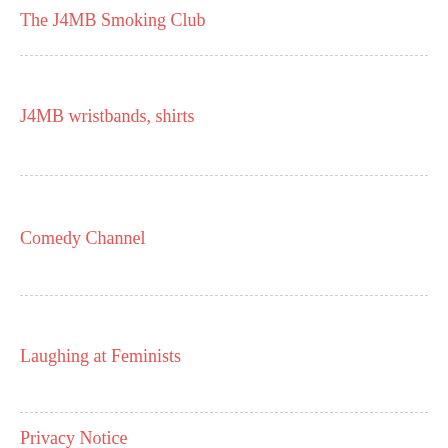The J4MB Smoking Club
J4MB wristbands, shirts
Comedy Channel
Laughing at Feminists
Privacy Notice